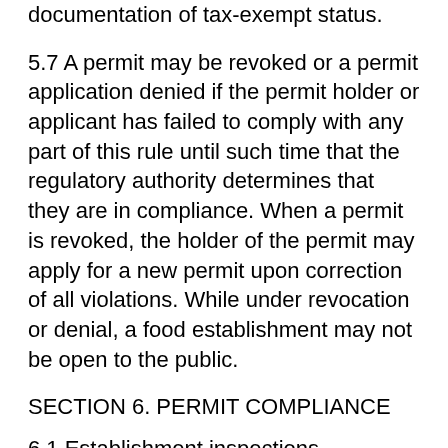documentation of tax-exempt status.
5.7 A permit may be revoked or a permit application denied if the permit holder or applicant has failed to comply with any part of this rule until such time that the regulatory authority determines that they are in compliance. When a permit is revoked, the holder of the permit may apply for a new permit upon correction of all violations. While under revocation or denial, a food establishment may not be open to the public.
SECTION 6. PERMIT COMPLIANCE
6.1 Establishment inspections
(A) Representatives of the regulatory authority, after identification, shall be permitted to enter any food service establishment, have access to the entire facility and its facilities.